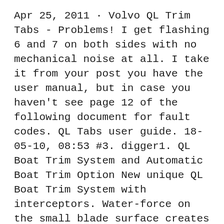Apr 25, 2011 · Volvo QL Trim Tabs - Problems! I get flashing 6 and 7 on both sides with no mechanical noise at all. I take it from your post you have the user manual, but in case you haven't see page 12 of the following document for fault codes. QL Tabs user guide. 18-05-10, 08:53 #3. digger1. QL Boat Trim System and Automatic Boat Trim Option New unique QL Boat Trim System with interceptors. Water-force on the small blade surface creates upward pressure on the hull bottom, thereby raising the stern and lowering the bow. Traditional trim system. Water-force on a large trim tab surface creates upward pressure.
Lenco Trim Tab Kit without Switch. Trim tabs make the single most important difference in